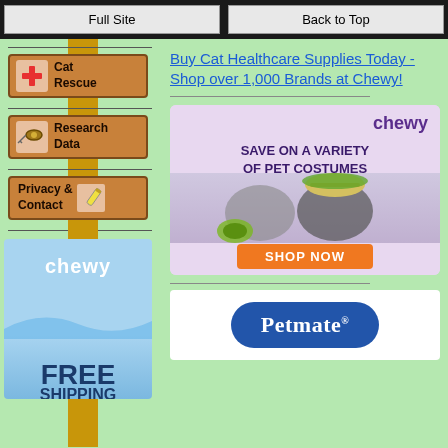Full Site | Back to Top
Cat Rescue
Research Data
Privacy & Contact
[Figure (advertisement): Chewy FREE SHIPPING advertisement, blue background]
Buy Cat Healthcare Supplies Today - Shop over 1,000 Brands at Chewy!
[Figure (advertisement): Chewy advertisement: Save on a Variety of Pet Costumes, Shop Now button, cats in costumes]
[Figure (logo): Petmate logo on blue oval badge]